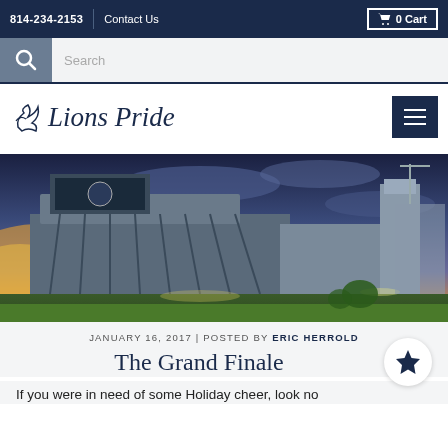814-234-2153 | Contact Us | 0 Cart
[Figure (screenshot): Search bar with magnifying glass icon and text input field]
Lions Pride
[Figure (photo): Exterior photo of Beaver Stadium at Penn State at dusk/sunset with dramatic sky]
JANUARY 16, 2017 | POSTED BY ERIC HERROLD
The Grand Finale
If you were in need of some Holiday cheer, look no